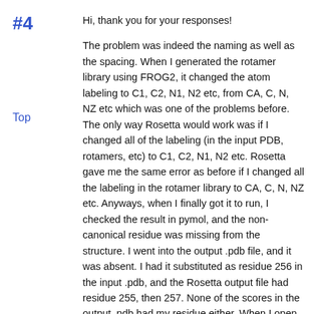#4
Top
Hi, thank you for your responses!
The problem was indeed the naming as well as the spacing. When I generated the rotamer library using FROG2, it changed the atom labeling to C1, C2, N1, N2 etc, from CA, C, N, NZ etc which was one of the problems before. The only way Rosetta would work was if I changed all of the labeling (in the input PDB, rotamers, etc) to C1, C2, N1, N2 etc. Rosetta gave me the same error as before if I changed all the labeling in the rotamer library to CA, C, N, NZ etc. Anyways, when I finally got it to run, I checked the result in pymol, and the non-canonical residue was missing from the structure. I went into the output .pdb file, and it was absent. I had it substituted as residue 256 in the input .pdb, and the Rosetta output file had residue 255, then 257. None of the scores in the output .pdb had my residue either. When I open the input .pdb file in pymol, pymol changes all the coordinates of my non-canonical AA to 400-something (as opposed to 30-something), resulting in what looks like an atom explosion in the